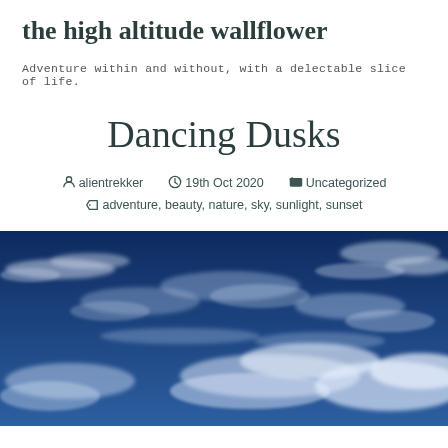the high altitude wallflower
Adventure within and without, with a delectable slice of life.
Dancing Dusks
alientrekker   19th Oct 2020   Uncategorized   adventure, beauty, nature, sky, sunlight, sunset
[Figure (photo): Blue sky with wispy white clouds at high altitude, photographed with deep blue tones and scattered cirrus clouds.]